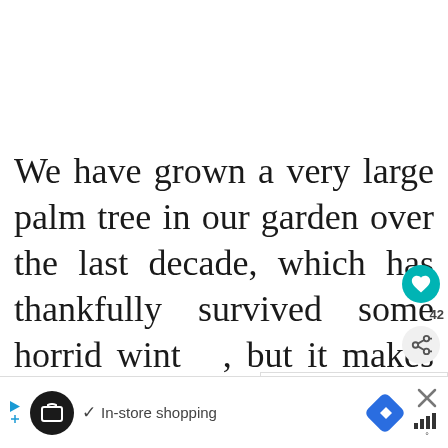We have grown a very large palm tree in our garden over the last decade, which has thankfully survived some horrid wint[ers], but it makes a great location [for] the SONNENGLAS® and if I had more, can you imagine how effective [it could] be?
[Figure (other): UI overlay showing heart/like button in teal with share icon and count label 42, plus a 'WHAT'S NEXT' card showing '5 Ways To Properly Tak...' with a thumbnail image]
[Figure (other): Advertisement bar at the bottom with a black circular icon, checkmark, 'In-store shopping' text, a blue navigation diamond icon, and a close X button with signal bars]